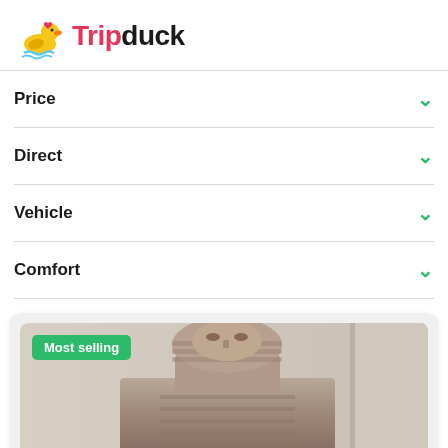Tripduck
Price
Direct
Vehicle
Comfort
[Figure (photo): Ancient Egyptian statue/pharaoh bust, stone carving, with a 'Most selling' green badge overlay on the image]